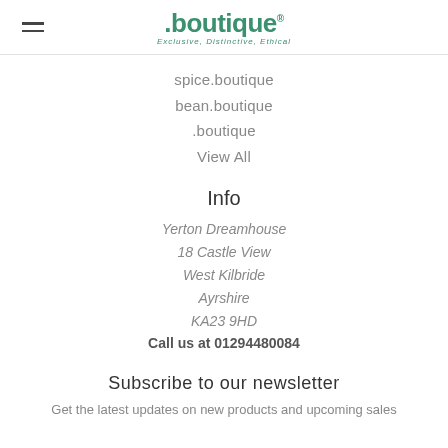.boutique — Exclusive, Distinctive, Ethical
spice.boutique
bean.boutique
.boutique
View All
Info
Yerton Dreamhouse
18 Castle View
West Kilbride
Ayrshire
KA23 9HD
Call us at 01294480084
Subscribe to our newsletter
Get the latest updates on new products and upcoming sales